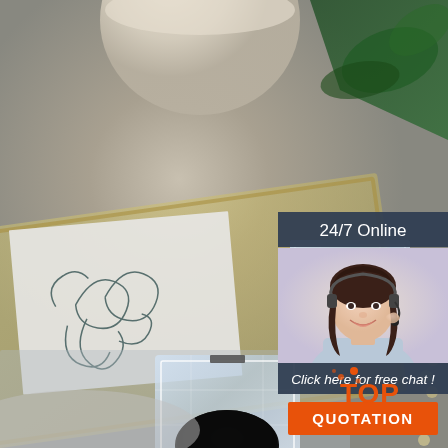[Figure (photo): Product photo showing crystal/acrylic compact makeup containers on a decorative tray with art card and ceramic vase in background. One compact shows black product, another shows light/white product.]
24/7 Online
[Figure (photo): Customer service agent – smiling woman with dark hair wearing headset and light blue shirt]
Click here for free chat !
QUOTATION
TOP